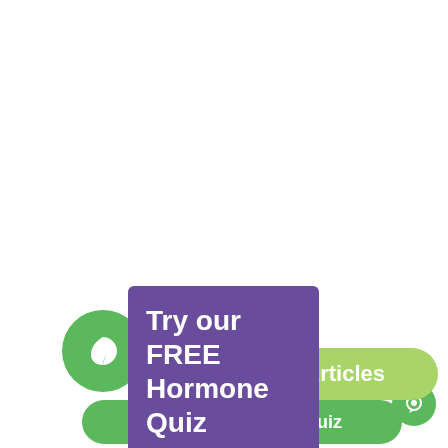[Figure (illustration): Green circle with white leaf icon]
Try our FREE Hormone Quiz
All Articles
FREE Hormone Quiz
[Figure (illustration): Green circle with chat/message icon at bottom right]